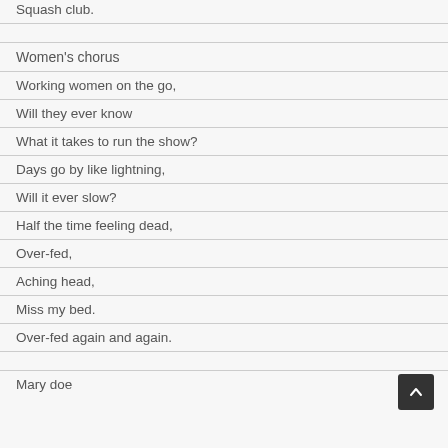Squash club.
Women's chorus
Working women on the go,
Will they ever know
What it takes to run the show?
Days go by like lightning,
Will it ever slow?
Half the time feeling dead,
Over-fed,
Aching head,
Miss my bed.
Over-fed again and again.
Mary doe